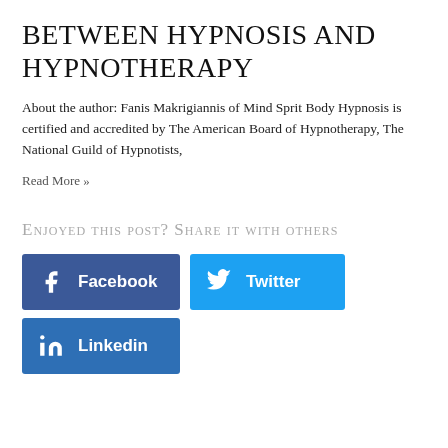BETWEEN HYPNOSIS AND HYPNOTHERAPY
About the author: Fanis Makrigiannis of Mind Sprit Body Hypnosis is certified and accredited by The American Board of Hypnotherapy, The National Guild of Hypnotists,
Read More »
Enjoyed this post? Share it with others
[Figure (other): Social share buttons: Facebook (dark blue), Twitter (light blue), Linkedin (blue)]